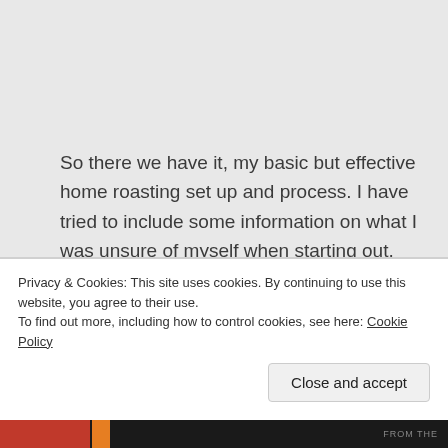So there we have it, my basic but effective home roasting set up and process. I have tried to include some information on what I was unsure of myself when starting out, however do some more reading on this yourself, and at least determine a starting point. Be prepared for a little trial and error after that. If you are in two minds about starting this for yourself. I'd
Privacy & Cookies: This site uses cookies. By continuing to use this website, you agree to their use.
To find out more, including how to control cookies, see here: Cookie Policy
Close and accept